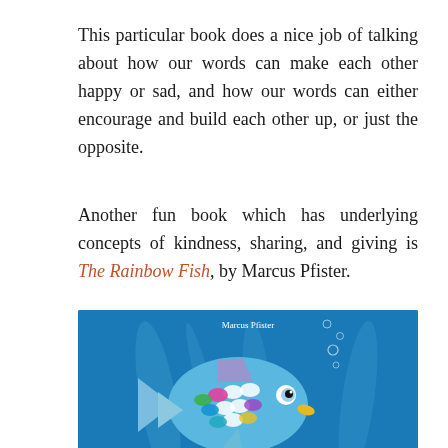This particular book does a nice job of talking about how our words can make each other happy or sad, and how our words can either encourage and build each other up, or just the opposite.
Another fun book which has underlying concepts of kindness, sharing, and giving is The Rainbow Fish, by Marcus Pfister.
[Figure (photo): Book cover of 'The Rainbow Fish' by Marcus Pfister, showing a colorful fish with shimmering scales on a blue underwater background, with the title in bold yellow text at the bottom.]